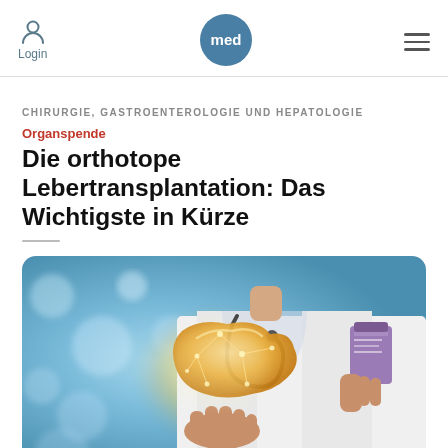Login | med | menu
CHIRURGIE, GASTROENTEROLOGIE UND HEPATOLOGIE
Organspende
Die orthotope Lebertransplantation: Das Wichtigste in Kürze
[Figure (photo): Doctor in white coat holding a clipboard, with a glowing 3D holographic liver displayed in front, bokeh blue background suggesting a medical/clinical setting.]